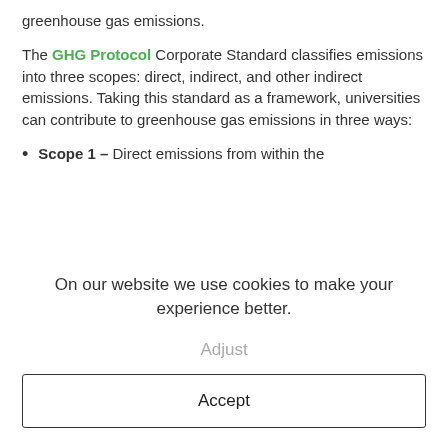greenhouse gas emissions.
The GHG Protocol Corporate Standard classifies emissions into three scopes: direct, indirect, and other indirect emissions. Taking this standard as a framework, universities can contribute to greenhouse gas emissions in three ways:
Scope 1 – Direct emissions from within the
On our website we use cookies to make your experience better.
Adjust
Accept